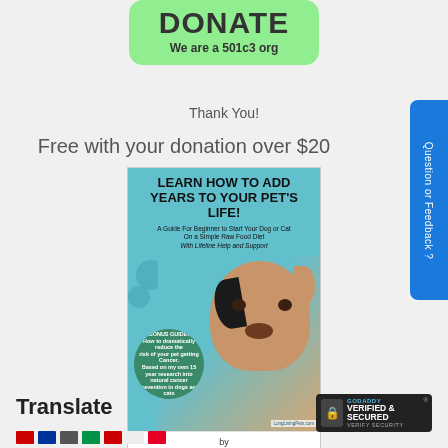[Figure (other): Green rounded donate button with text DONATE and We are a 501c3 org]
Thank You!
Free with your donation over $20
[Figure (illustration): Book cover: Learn How to Add Years to Your Pet's Life! by Thomas Sandberg. A Guide For Beginner to Start Your Dog or Cat On a Simple Raw Food Diet With Lifeline Help and Support. Features a dog and cat photo with teal background and a bonus guide sticker.]
[Figure (other): Blue vertical side tab reading Question or Feedback?]
Translate
[Figure (logo): GoDaddy Verified & Secured badge]